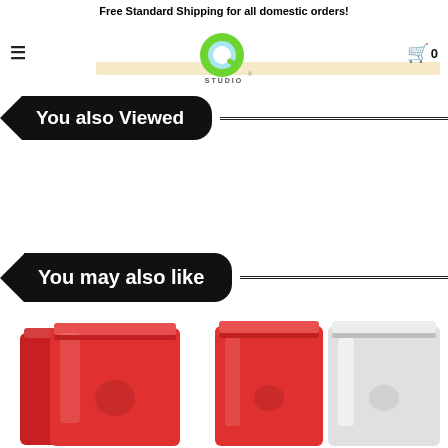Free Standard Shipping for all domestic orders!
[Figure (logo): Q Studio logo with green Q and blue highlight, STUDIO text below]
You also Viewed
You may also like
[Figure (photo): Red matte stand-up ziplock pouches, two overlapping bags]
[Figure (photo): Red and silver/white stand-up ziplock pouches side by side]